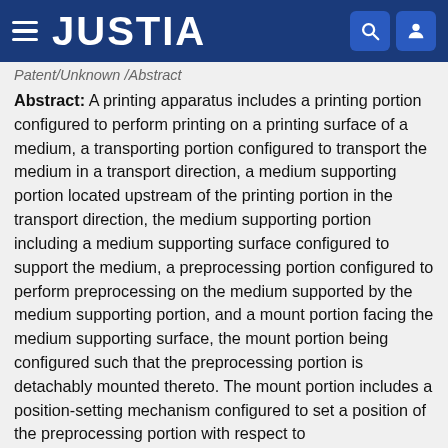JUSTIA
Patent/Unknown /Abstract
Abstract: A printing apparatus includes a printing portion configured to perform printing on a printing surface of a medium, a transporting portion configured to transport the medium in a transport direction, a medium supporting portion located upstream of the printing portion in the transport direction, the medium supporting portion including a medium supporting surface configured to support the medium, a preprocessing portion configured to perform preprocessing on the medium supported by the medium supporting portion, and a mount portion facing the medium supporting surface, the mount portion being configured such that the preprocessing portion is detachably mounted thereto. The mount portion includes a position-setting mechanism configured to set a position of the preprocessing portion with respect to